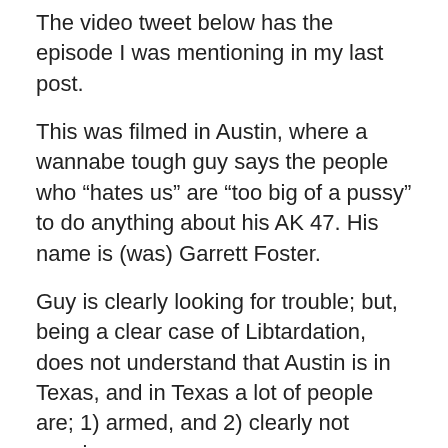The video tweet below has the episode I was mentioning in my last post.
This was filmed in Austin, where a wannabe tough guy says the people who “hates us” are “too big of a pussy” to do anything about his AK 47. His name is (was) Garrett Foster.
Guy is clearly looking for trouble; but, being a clear case of Libtardation, does not understand that Austin is in Texas, and in Texas a lot of people are; 1) armed, and 2) clearly not pussies.
It seems abundantly clear that no charges will be pressed against the citizen who shot him in self-defence. This means that the police/prosecutors have decided that Garrett Foster threatened the citizen with his AK 47 and discovered, too late, that you can’t threaten someone with